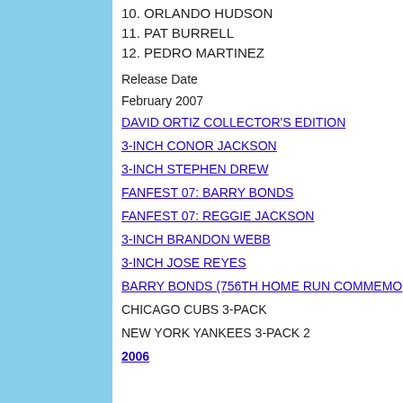10. ORLANDO HUDSON
11. PAT BURRELL
12. PEDRO MARTINEZ
Release Date
February 2007
DAVID ORTIZ COLLECTOR'S EDITION
3-INCH CONOR JACKSON
3-INCH STEPHEN DREW
FANFEST 07: BARRY BONDS
FANFEST 07: REGGIE JACKSON
3-INCH BRANDON WEBB
3-INCH JOSE REYES
BARRY BONDS (756TH HOME RUN COMMEMO
CHICAGO CUBS 3-PACK
NEW YORK YANKEES 3-PACK 2
2006